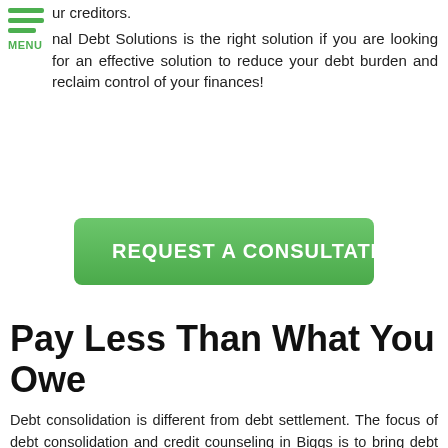ur creditors. nal Debt Solutions is the right solution if you are looking for an effective solution to reduce your debt burden and reclaim control of your finances!
[Figure (other): Green hamburger menu icon with three horizontal lines and MENU label below]
[Figure (other): Green button: REQUEST A CONSULTATION with hand pointer icon]
Pay Less Than What You Owe
Debt consolidation is different from debt settlement. The focus of debt consolidation and credit counseling in Biggs is to bring debt together for easier management and payment reconciliation. On the other hand, debt settlement seeks to reduce the total amount of outstanding debt and the number of months you need to service debt fully.
Biggs debt settlement is achieved through ught ebt negotiation approaches. It is the most u so to